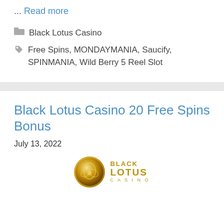... Read more
Black Lotus Casino
Free Spins, MONDAYMANIA, Saucify, SPINMANIA, Wild Berry 5 Reel Slot
Black Lotus Casino 20 Free Spins Bonus
July 13, 2022
[Figure (logo): Black Lotus Casino logo with golden circular emblem and stylized text reading BLACK LOTUS CASINO]